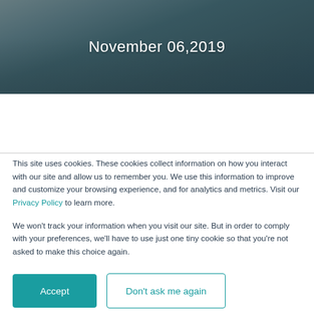[Figure (photo): Hero image of people working at a meeting table, with a dark teal/blue overlay. Date text 'November 06,2019' is displayed centered over the image in white.]
November 06,2019
This site uses cookies. These cookies collect information on how you interact with our site and allow us to remember you. We use this information to improve and customize your browsing experience, and for analytics and metrics. Visit our Privacy Policy to learn more.
We won't track your information when you visit our site. But in order to comply with your preferences, we'll have to use just one tiny cookie so that you're not asked to make this choice again.